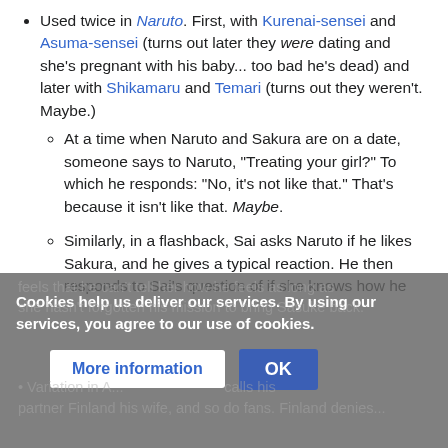Used twice in Naruto. First, with Kurenai-sensei and Asuma-sensei (turns out later they were dating and she's pregnant with his baby... too bad he's dead) and later with Shikamaru and Temari (turns out they weren't. Maybe.)
At a time when Naruto and Sakura are on a date, someone says to Naruto, "Treating your girl?" To which he responds: "No, it's not like that." That's because it isn't like that. Maybe.
Similarly, in a flashback, Sai asks Naruto if he likes Sakura, and he gives a typical reaction. He then responds to Sai's question of if she knows how he feels that he can't tell her how he feels as long as she hasn't forgotten his mission to bring Sasuke back.
Variation in A... calls his partner Finland his wife, and so do fans. Finland denies...
Cookies help us deliver our services. By using our services, you agree to our use of cookies.